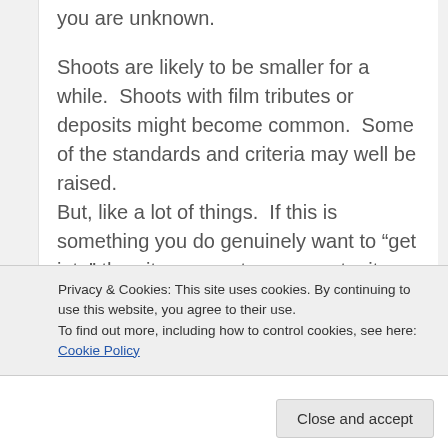you are unknown.
Shoots are likely to be smaller for a while.  Shoots with film tributes or deposits might become common.  Some of the standards and criteria may well be raised.
But, like a lot of things.  If this is something you do genuinely want to “get into” then it represents an opportunity.
You are not “missing out” because nobody is really filming at the moment.  So you can use some of this time to research who might be realistic to film
Privacy & Cookies: This site uses cookies. By continuing to use this website, you agree to their use.
To find out more, including how to control cookies, see here: Cookie Policy
Close and accept